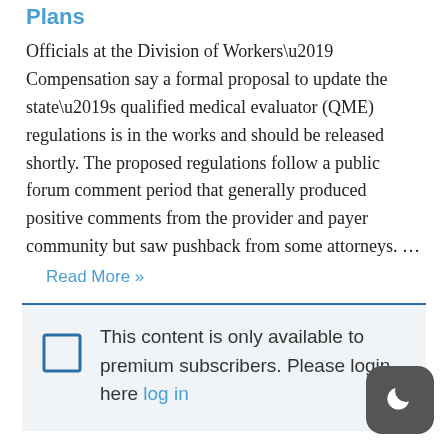Plans
Officials at the Division of Workers’ Compensation say a formal proposal to update the state’s qualified medical evaluator (QME) regulations is in the works and should be released shortly. The proposed regulations follow a public forum comment period that generally produced positive comments from the provider and payer community but saw pushback from some attorneys. …
Read More »
This content is only available to premium subscribers. Please login here log in